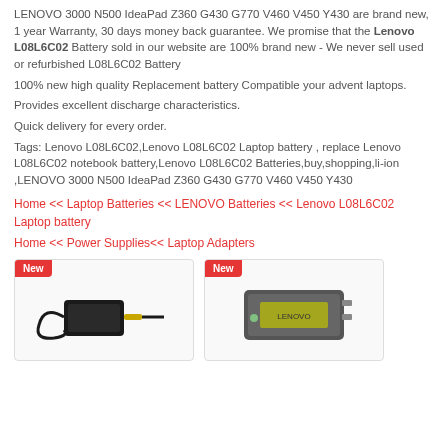LENOVO 3000 N500 IdeaPad Z360 G430 G770 V460 V450 Y430 are brand new, 1 year Warranty, 30 days money back guarantee. We promise that the Lenovo L08L6C02 Battery sold in our website are 100% brand new - We never sell used or refurbished L08L6C02 Battery
100% new high quality Replacement battery Compatible your advent laptops.
Provides excellent discharge characteristics.
Quick delivery for every order.
Tags: Lenovo L08L6C02,Lenovo L08L6C02 Laptop battery , replace Lenovo L08L6C02 notebook battery,Lenovo L08L6C02 Batteries,buy,shopping,li-ion ,LENOVO 3000 N500 IdeaPad Z360 G430 G770 V460 V450 Y430
Home << Laptop Batteries << LENOVO Batteries << Lenovo L08L6C02 Laptop battery
Home << Power Supplies<< Laptop Adapters
[Figure (photo): Product photo of a laptop power adapter/charger with cable, labeled New]
[Figure (photo): Product photo of a laptop battery or power adapter, labeled New]